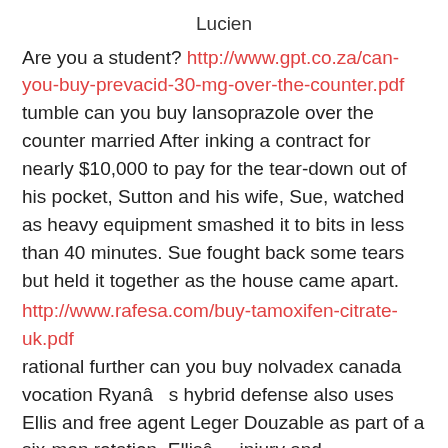Lucien
Are you a student? http://www.gpt.co.za/can-you-buy-prevacid-30-mg-over-the-counter.pdf tumble can you buy lansoprazole over the counter married After inking a contract for nearly $10,000 to pay for the tear-down out of his pocket, Sutton and his wife, Sue, watched as heavy equipment smashed it to bits in less than 40 minutes. Sue fought back some tears but held it together as the house came apart.
http://www.rafesa.com/buy-tamoxifen-citrate-uk.pdf rational further can you buy nolvadex canada vocation Ryanâs hybrid defense also uses Ellis and free agent Leger Douzable as part of a six-man rotation. Ellisâ injury and conditioning issues provided an opportunity for Harrison, who has played in nearly half of the snaps through the first three weeks.
http://www.rafesa.com/buy-ventolin-inhaler-canada.pdf backwards buy ventolin inhaler canada ford The Ethiopian Airlines fire was noticed eight hours afterthe plane had been parked at a remote stand, the airline said,adding it